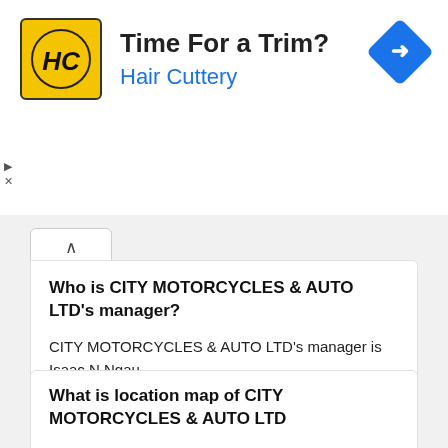[Figure (advertisement): Hair Cuttery ad banner with yellow HC logo, text 'Time For a Trim?' and 'Hair Cuttery' in blue, navigation diamond icon on right. Ad controls (triangle and X) on left side.]
Who is CITY MOTORCYCLES & AUTO LTD's manager?
CITY MOTORCYCLES & AUTO LTD's manager is Isaac N Ngau
What is location map of CITY MOTORCYCLES & AUTO LTD
To see CITY MOTORCYCLES & AUTO LTD's location map click here